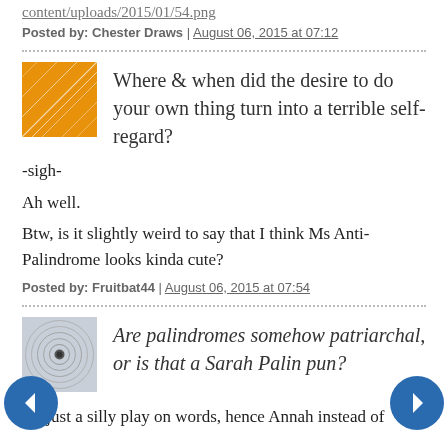content/uploads/2015/01/54.png
Posted by: Chester Draws | August 06, 2015 at 07:12
[Figure (illustration): Orange avatar image with white geometric lines pattern]
Where & when did the desire to do your own thing turn into a terrible self-regard?
-sigh-
Ah well.
Btw, is it slightly weird to say that I think Ms Anti-Palindrome looks kinda cute?
Posted by: Fruitbat44 | August 06, 2015 at 07:54
[Figure (illustration): Gray avatar image with circular pattern and dark center dot]
Are palindromes somehow patriarchal, or is that a Sarah Palin pun?
It's just a silly play on words, hence Annah instead of